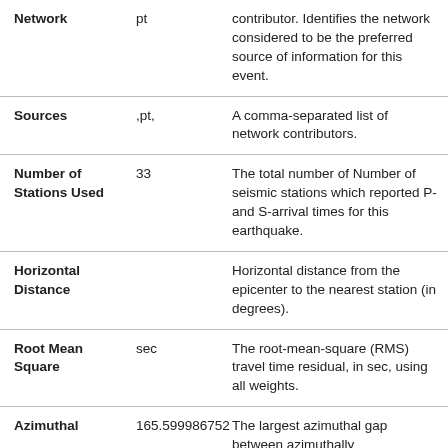| Field | Example | Description |
| --- | --- | --- |
| Network | pt | contributor. Identifies the network considered to be the preferred source of information for this event. |
| Sources | ,pt, | A comma-separated list of network contributors. |
| Number of Stations Used | 33 | The total number of Number of seismic stations which reported P- and S-arrival times for this earthquake. |
| Horizontal Distance |  | Horizontal distance from the epicenter to the nearest station (in degrees). |
| Root Mean Square | sec | The root-mean-square (RMS) travel time residual, in sec, using all weights. |
| Azimuthal | 165.599986752 | The largest azimuthal gap between azimuthally |